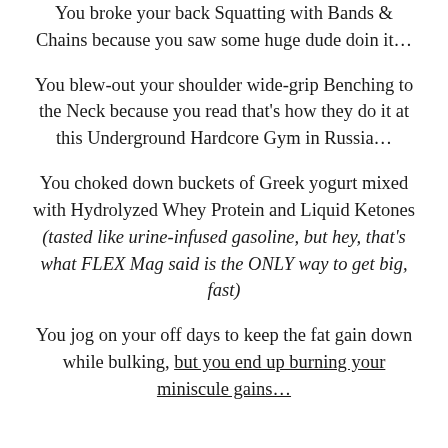You broke your back Squatting with Bands & Chains because you saw some huge dude doin it…
You blew-out your shoulder wide-grip Benching to the Neck because you read that's how they do it at this Underground Hardcore Gym in Russia…
You choked down buckets of Greek yogurt mixed with Hydrolyzed Whey Protein and Liquid Ketones (tasted like urine-infused gasoline, but hey, that's what FLEX Mag said is the ONLY way to get big, fast)
You jog on your off days to keep the fat gain down while bulking, but you end up burning your miniscule gains…